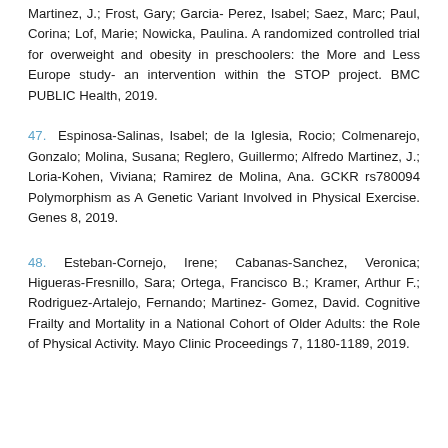Martinez, J.; Frost, Gary; Garcia- Perez, Isabel; Saez, Marc; Paul, Corina; Lof, Marie; Nowicka, Paulina. A randomized controlled trial for overweight and obesity in preschoolers: the More and Less Europe study- an intervention within the STOP project. BMC PUBLIC Health, 2019.
47. Espinosa-Salinas, Isabel; de la Iglesia, Rocio; Colmenarejo, Gonzalo; Molina, Susana; Reglero, Guillermo; Alfredo Martinez, J.; Loria-Kohen, Viviana; Ramirez de Molina, Ana. GCKR rs780094 Polymorphism as A Genetic Variant Involved in Physical Exercise. Genes 8, 2019.
48. Esteban-Cornejo, Irene; Cabanas-Sanchez, Veronica; Higueras-Fresnillo, Sara; Ortega, Francisco B.; Kramer, Arthur F.; Rodriguez-Artalejo, Fernando; Martinez- Gomez, David. Cognitive Frailty and Mortality in a National Cohort of Older Adults: the Role of Physical Activity. Mayo Clinic Proceedings 7, 1180-1189, 2019.